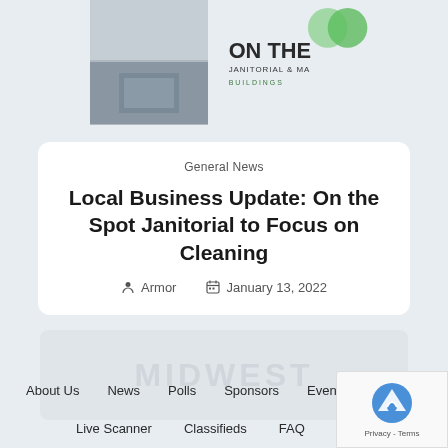[Figure (photo): Collage of janitorial/cleaning service photos with 'On The Janitorial & MA Buildings' logo]
General News
Local Business Update: On the Spot Janitorial to Focus on Cleaning
Armor   January 13, 2022
[Figure (other): MIDWEST banner/card with sub-images]
About Us   News   Polls   Sponsors   Events   Dire...
Live Scanner   Classifieds   FAQ   Contact